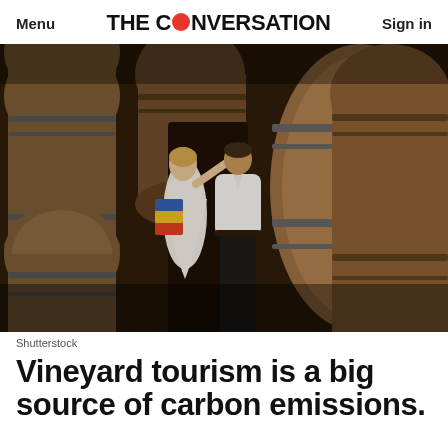Menu | THE CONVERSATION | Sign in
[Figure (photo): Two people standing among large wooden wine barrels in a winery cellar. A woman in a white dress with a colorful striped bag points upward while a man in a white shirt looks in the same direction.]
Shutterstock
Vineyard tourism is a big source of carbon emissions.